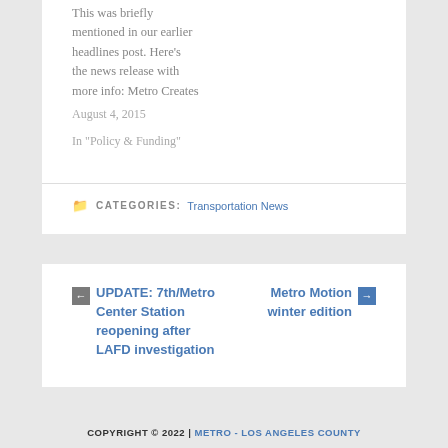This was briefly mentioned in our earlier headlines post. Here's the news release with more info: Metro Creates
August 4, 2015
In "Policy & Funding"
CATEGORIES: Transportation News
← UPDATE: 7th/Metro Center Station reopening after LAFD investigation
Metro Motion winter edition →
COPYRIGHT © 2022 | METRO - LOS ANGELES COUNTY